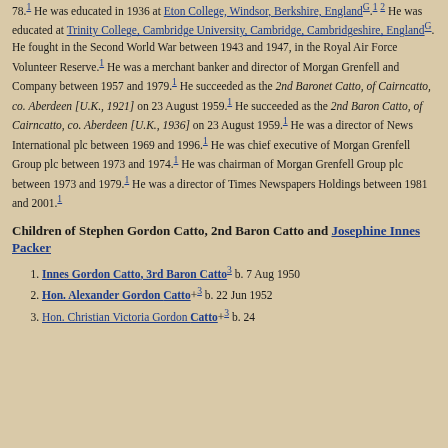78.1 He was educated in 1936 at Eton College, Windsor, Berkshire, EnglandG.1 2 He was educated at Trinity College, Cambridge University, Cambridge, Cambridgeshire, EnglandG. He fought in the Second World War between 1943 and 1947, in the Royal Air Force Volunteer Reserve.1 He was a merchant banker and director of Morgan Grenfell and Company between 1957 and 1979.1 He succeeded as the 2nd Baronet Catto, of Cairncatto, co. Aberdeen [U.K., 1921] on 23 August 1959.1 He succeeded as the 2nd Baron Catto, of Cairncatto, co. Aberdeen [U.K., 1936] on 23 August 1959.1 He was a director of News International plc between 1969 and 1996.1 He was chief executive of Morgan Grenfell Group plc between 1973 and 1974.1 He was chairman of Morgan Grenfell Group plc between 1973 and 1979.1 He was a director of Times Newspapers Holdings between 1981 and 2001.1
Children of Stephen Gordon Catto, 2nd Baron Catto and Josephine Innes Packer
Innes Gordon Catto, 3rd Baron Catto3 b. 7 Aug 1950
Hon. Alexander Gordon Catto+3 b. 22 Jun 1952
Hon. Christian Victoria Gordon Catto+3 b. 24